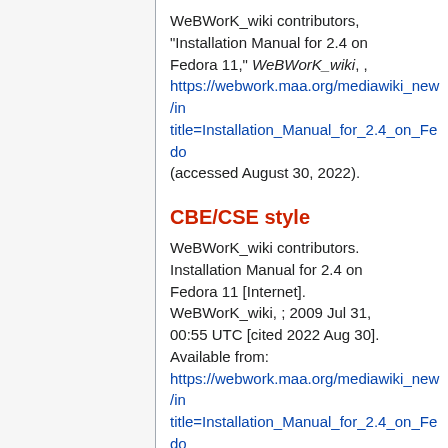WeBWorK_wiki contributors, "Installation Manual for 2.4 on Fedora 11," WeBWorK_wiki, , https://webwork.maa.org/mediawiki_new/index.php?title=Installation_Manual_for_2.4_on_Fedora_11 (accessed August 30, 2022).
CBE/CSE style
WeBWorK_wiki contributors. Installation Manual for 2.4 on Fedora 11 [Internet]. WeBWorK_wiki, ; 2009 Jul 31, 00:55 UTC [cited 2022 Aug 30]. Available from: https://webwork.maa.org/mediawiki_new/index.php?title=Installation_Manual_for_2.4_on_Fedora_11
Bluebook style
Installation Manual for 2.4 on